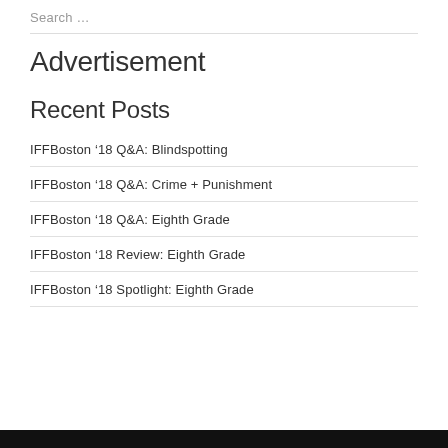Search …
Advertisement
Recent Posts
IFFBoston '18 Q&A: Blindspotting
IFFBoston '18 Q&A: Crime + Punishment
IFFBoston '18 Q&A: Eighth Grade
IFFBoston '18 Review: Eighth Grade
IFFBoston '18 Spotlight: Eighth Grade